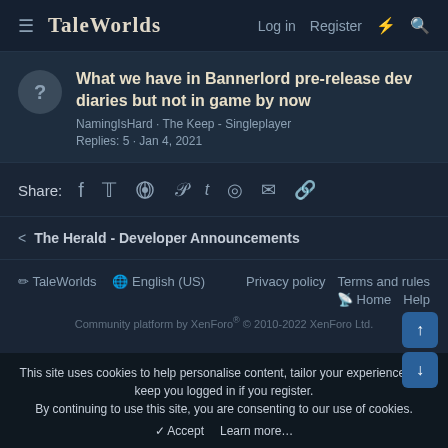TaleWorlds   Log in   Register
What we have in Bannerlord pre-release dev diaries but not in game by now
NamingIsHard · The Keep - Singleplayer
Replies: 5 · Jan 4, 2021
Share:
< The Herald - Developer Announcements
TaleWorlds   English (US)   Privacy policy   Terms and rules   Home   Help
Community platform by XenForo® © 2010-2022 XenForo Ltd.
This site uses cookies to help personalise content, tailor your experience and keep you logged in if you register.
By continuing to use this site, you are consenting to our use of cookies.
✓ Accept   Learn more…